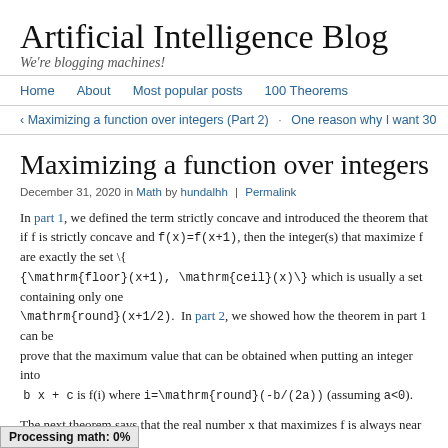Artificial Intelligence Blog
We're blogging machines!
Home  About  Most popular posts  100 Theorems
‹ Maximizing a function over integers (Part 2)  ·  One reason why I want 30
Maximizing a function over integers (Part 3)
December 31, 2020 in Math by hundalhh | Permalink
In part 1, we defined the term strictly concave and introduced the theorem that if f is strictly concave and f(x)=f(x+1), then the integer(s) that maximize f are exactly the set {\mathrm{floor}(x+1), \mathrm{ceil}(x)} which is usually a set containing only one element \mathrm{round}(x+1/2).  In part 2, we showed how the theorem in part 1 can be used to prove that the maximum value that can be obtained when putting an integer into f(i) = a i² + b x + c is f(i) where i=\mathrm{round}(-b/(2a)) (assuming a<0).
The next theorem says that the real number x that maximizes f is always near the integer that maximizes f.
Processing math: 0%